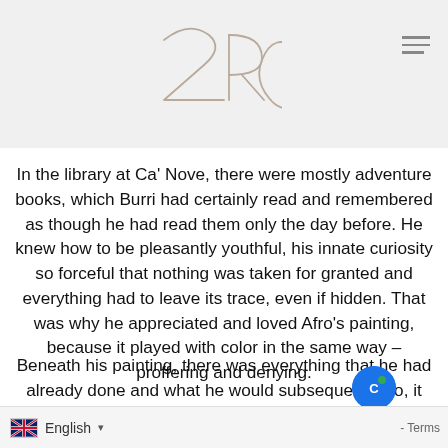[Figure (logo): 2RC stylized logo in thin strokes on grey background header]
In the library at Ca' Nove, there were mostly adventure books, which Burri had certainly read and remembered as though he had read them only the day before. He knew how to be pleasantly youthful, his innate curiosity so forceful that nothing was taken for granted and everything had to leave its trace, even if hidden. That was why he appreciated and loved Afro's painting, because it played with color in the same way – proffering and denying.
Beneath his painting, there was everything that he had already done and what he would subsequently do, it was a continual surfa
English · Terms